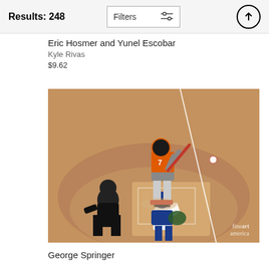Results: 248
Eric Hosmer and Yunel Escobar
Kyle Rivas
$9.62
[Figure (photo): Baseball game photo showing a batter in an orange Houston Astros helmet swinging a red bat at home plate, with a catcher in blue gear crouching and an umpire in black standing behind. The ball is visible in mid-air. A white foul line is visible. Fine Art America watermark in the bottom right corner.]
George Springer